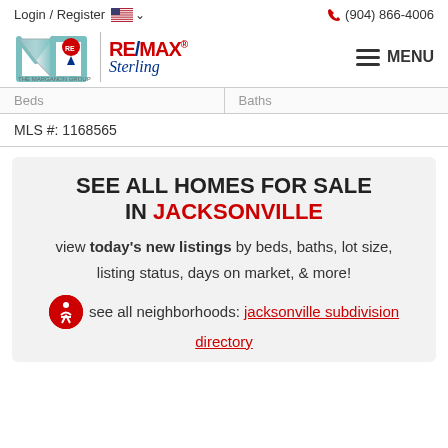Login / Register  (904) 866-4006
[Figure (logo): RE/MAX Sterling - The Marganon Group logo with stylized M and RE/MAX balloon]
| Beds | Baths |
| --- | --- |
| MLS #: 1168565 |  |
SEE ALL HOMES FOR SALE IN JACKSONVILLE
view today's new listings by beds, baths, lot size, listing status, days on market, & more!
see all neighborhoods: jacksonville subdivision directory